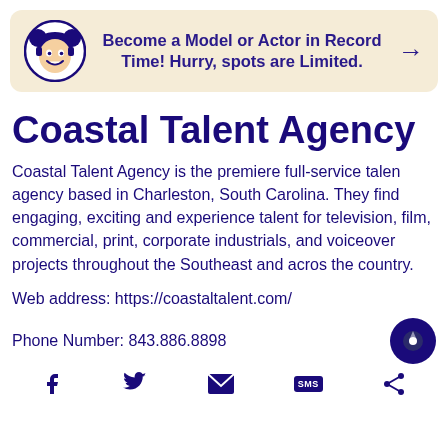[Figure (infographic): Promotional banner with cartoon character logo and text: Become a Model or Actor in Record Time! Hurry, spots are Limited.]
Coastal Talent Agency
Coastal Talent Agency is the premiere full-service talent agency based in Charleston, South Carolina. They find engaging, exciting and experience talent for television, film, commercial, print, corporate industrials, and voiceover projects throughout the Southeast and across the country.
Web address: https://coastaltalent.com/
Phone Number: 843.886.8898
[Figure (infographic): Social media icons: Facebook, Twitter, Email, SMS, Share]